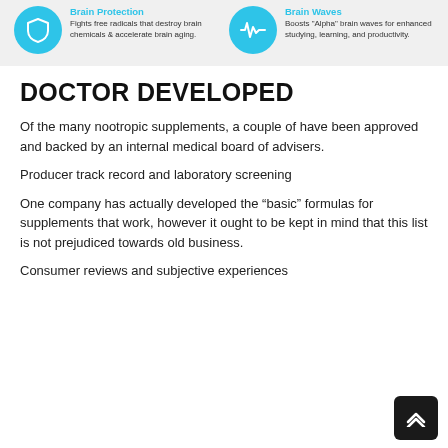[Figure (infographic): Infographic panel on light gray background showing two feature blocks side by side. Left: Brain Protection icon (shield) with text 'Fights free radicals that destroy brain chemicals & accelerate brain aging.' Right: Brain Waves icon (waveform) with text 'Boosts "Alpha" brain waves for enhanced studying, learning, and productivity.']
DOCTOR DEVELOPED
Of the many nootropic supplements, a couple of have been approved and backed by an internal medical board of advisers.
Producer track record and laboratory screening
One company has actually developed the “basic” formulas for supplements that work, however it ought to be kept in mind that this list is not prejudiced towards old business.
Consumer reviews and subjective experiences